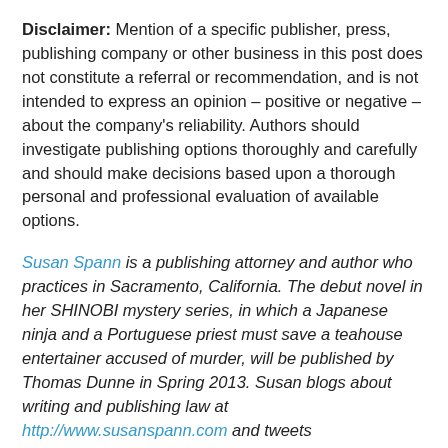Disclaimer: Mention of a specific publisher, press, publishing company or other business in this post does not constitute a referral or recommendation, and is not intended to express an opinion – positive or negative – about the company's reliability. Authors should investigate publishing options thoroughly and carefully and should make decisions based upon a thorough personal and professional evaluation of available options.
Susan Spann is a publishing attorney and author who practices in Sacramento, California. The debut novel in her SHINOBI mystery series, in which a Japanese ninja and a Portuguese priest must save a teahouse entertainer accused of murder, will be published by Thomas Dunne in Spring 2013. Susan blogs about writing and publishing law at http://www.susanspann.com and tweets @SusanSpann.